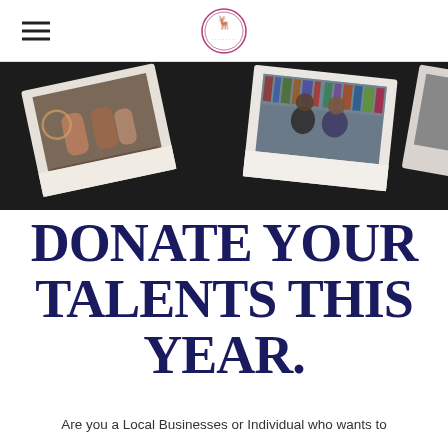[Logo: organization circular seal with animal figure]
[Figure (photo): Banner image showing polaroid-style photographs on a dark surface: one polaroid shows a group of women at a table, another shows a man and woman posing in front of bookshelves.]
DONATE YOUR TALENTS THIS YEAR.
Are you a Local Businesses or Individual who wants to